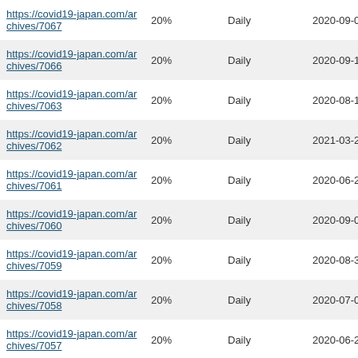| https://covid19-japan.com/archives/7067 | 20% | Daily | 2020-09-02 01:18 |
| https://covid19-japan.com/archives/7066 | 20% | Daily | 2020-09-19 05:31 |
| https://covid19-japan.com/archives/7063 | 20% | Daily | 2020-08-19 16:36 |
| https://covid19-japan.com/archives/7062 | 20% | Daily | 2021-03-29 12:14 |
| https://covid19-japan.com/archives/7061 | 20% | Daily | 2020-06-20 11:24 |
| https://covid19-japan.com/archives/7060 | 20% | Daily | 2020-09-09 06:40 |
| https://covid19-japan.com/archives/7059 | 20% | Daily | 2020-08-31 07:36 |
| https://covid19-japan.com/archives/7058 | 20% | Daily | 2020-07-03 21:45 |
| https://covid19-japan.com/archives/7057 | 20% | Daily | 2020-06-20 09:17 |
| https://covid19-japan.com/archives/7055 | 20% | Daily | 2020-06-24 00:54 |
| https://covid19-japan.com/archives/7053 | 20% | Daily | 2020-09-07 01:39 |
| https://covid19-japan.com/archives/7052 | 20% | Daily | 2020-07-25 04:36 |
| https://covid19-japan.com/archives/... |  |  |  |